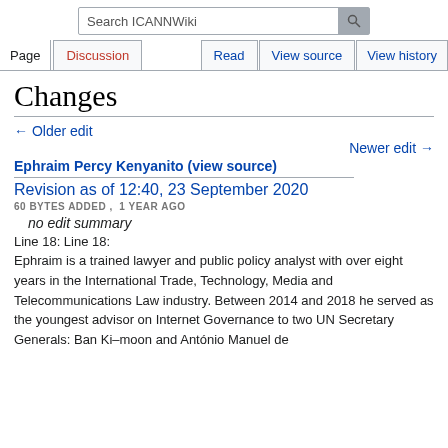Search ICANNWiki | Page | Discussion | Read | View source | View history
Changes
← Older edit
Newer edit →
Ephraim Percy Kenyanito (view source)
Revision as of 12:40, 23 September 2020
60 BYTES ADDED ,  1 YEAR AGO
no edit summary
Line 18: Line 18:
Ephraim is a trained lawyer and public policy analyst with over eight years in the International Trade, Technology, Media and Telecommunications Law industry. Between 2014 and 2018 he served as the youngest advisor on Internet Governance to two UN Secretary Generals: Ban Ki–moon and António Manuel de